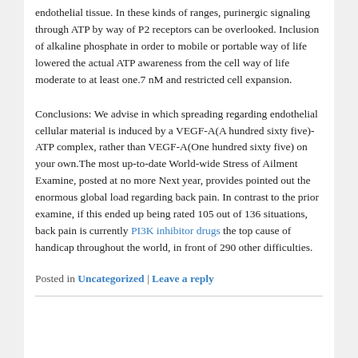endothelial tissue. In these kinds of ranges, purinergic signaling through ATP by way of P2 receptors can be overlooked. Inclusion of alkaline phosphate in order to mobile or portable way of life lowered the actual ATP awareness from the cell way of life moderate to at least one.7 nM and restricted cell expansion.
Conclusions: We advise in which spreading regarding endothelial cellular material is induced by a VEGF-A(A hundred sixty five)-ATP complex, rather than VEGF-A(One hundred sixty five) on your own.The most up-to-date World-wide Stress of Ailment Examine, posted at no more Next year, provides pointed out the enormous global load regarding back pain. In contrast to the prior examine, if this ended up being rated 105 out of 136 situations, back pain is currently PI3K inhibitor drugs the top cause of handicap throughout the world, in front of 290 other difficulties.
Posted in Uncategorized | Leave a reply